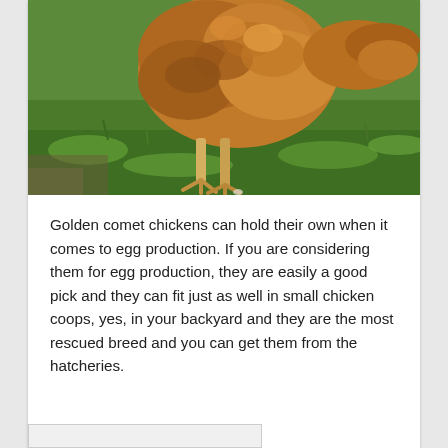[Figure (photo): A golden/brown chicken (Golden Comet breed) standing on green grass, viewed from above and slightly to the side, pecking at the ground.]
Golden comet chickens can hold their own when it comes to egg production. If you are considering them for egg production, they are easily a good pick and they can fit just as well in small chicken coops, yes, in your backyard and they are the most rescued breed and you can get them from the hatcheries.